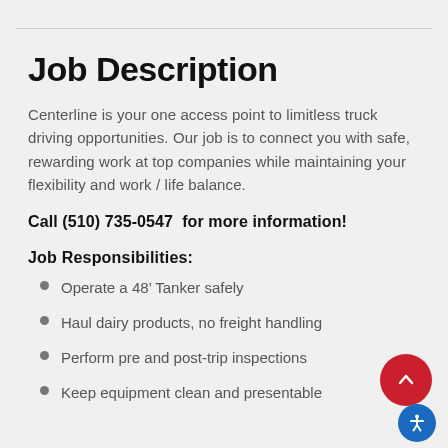Job Description
Centerline is your one access point to limitless truck driving opportunities.  Our job is to connect you with safe, rewarding work at top companies while maintaining your flexibility and work / life balance.
Call (510) 735-0547  for more information!
Job Responsibilities:
Operate a 48' Tanker safely
Haul dairy products, no freight handling
Perform pre and post-trip inspections
Keep equipment clean and presentable